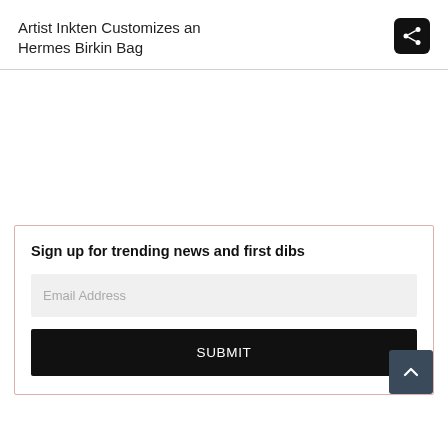Artist Inkten Customizes an Hermes Birkin Bag
Sign up for trending news and first dibs
Email Address
SUBMIT